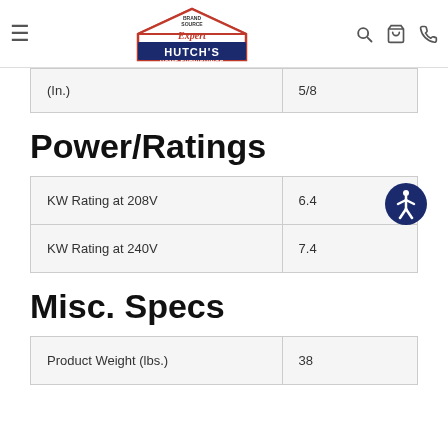[Figure (logo): Hutch's Home Furnishings / Brand Source Expert logo with house shape]
| (In.) | 5/8 |
Power/Ratings
| KW Rating at 208V | 6.4 |
| KW Rating at 240V | 7.4 |
Misc. Specs
| Product Weight (lbs.) | 38 |